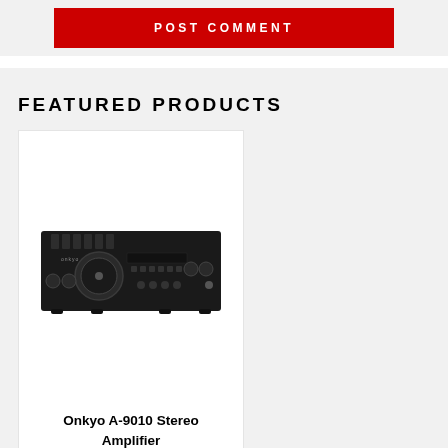[Figure (other): Red POST COMMENT button]
FEATURED PRODUCTS
[Figure (photo): Onkyo A-9010 Stereo Amplifier product photo showing a black stereo amplifier with knobs and buttons on the front panel]
Onkyo A-9010 Stereo Amplifier